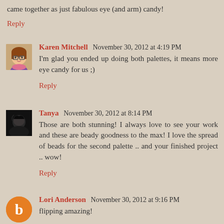came together as just fabulous eye (and arm) candy!
Reply
Karen Mitchell  November 30, 2012 at 4:19 PM
I'm glad you ended up doing both palettes, it means more eye candy for us ;)
Reply
Tanya  November 30, 2012 at 8:14 PM
Those are both stunning! I always love to see your work and these are beady goodness to the max! I love the spread of beads for the second palette .. and your finished project .. wow!
Reply
Lori Anderson  November 30, 2012 at 9:16 PM
flipping amazing!